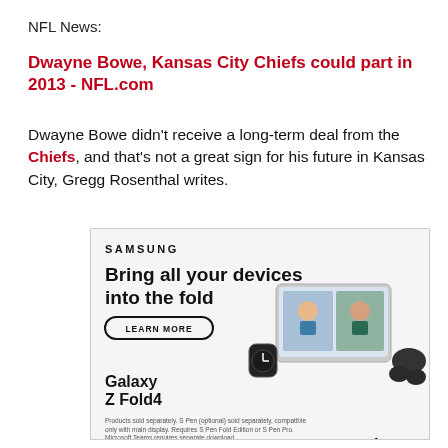NFL News:
Dwayne Bowe, Kansas City Chiefs could part in 2013 - NFL.com
Dwayne Bowe didn't receive a long-term deal from the Chiefs, and that's not a great sign for his future in Kansas City, Gregg Rosenthal writes.
[Figure (other): Samsung advertisement: 'Bring all your devices into the fold' - Galaxy Z Fold4 ad with product image showing a foldable phone, smartwatch, and earbuds. Includes a 'Learn More' button. Fine print: Products sold separately. S Pen (optional) sold separately, compatible only with main display. Requires S Pen Fold Edition or S Pen Pro. Microsoft Teams requires separate download.]